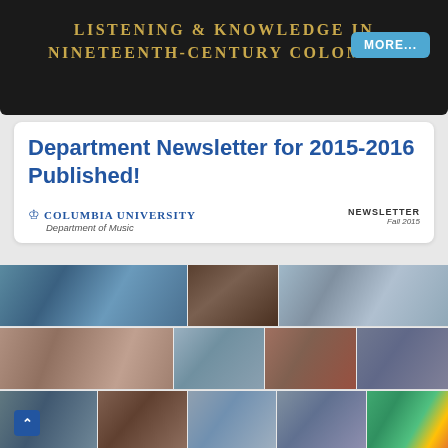[Figure (screenshot): Dark banner with gold text reading 'LISTENING & KNOWLEDGE IN NINETEENTH-CENTURY COLOMBIA' and a blue 'MORE...' button in the top right]
Department Newsletter for 2015-2016 Published!
[Figure (photo): Columbia University Department of Music newsletter cover preview showing the university logo, 'NEWSLETTER Fall 2015' label, and a collage of faculty and student photos in a grid layout]